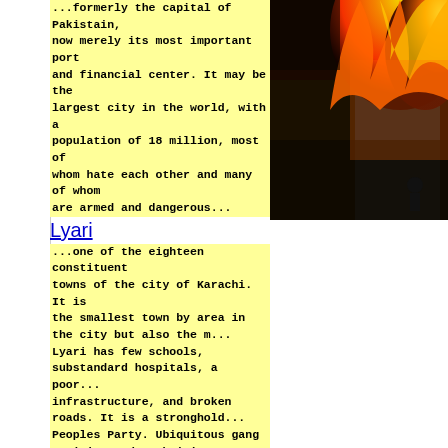...formerly the capital of Pakistain, now merely its most important port and financial center. It may be the largest city in the world, with a population of 18 million, most of whom hate each other and many of whom are armed and dangerous...
[Figure (photo): A building engulfed in fire with orange flames and black smoke, with a person visible in the lower right]
Lyari
...one of the eighteen constituent towns of the city of Karachi. It is the smallest town by area in the city but also the m... Lyari has few schools, substandard hospitals, a poor infrastructure, and broken roads. It is a stronghold... Peoples Party. Ubiquitous gang activity and a thrivi... make Lyari one of the most disturbed places in Karac... saying a lot....
area has been set to fire on Wednesday by unidentified pe...
Rafique Engineer was elected to the provincial assembly fr...
Talking to DawnNews, Engineer said that his house was lo... the criminal elements.
His family members remained safe, sources said.